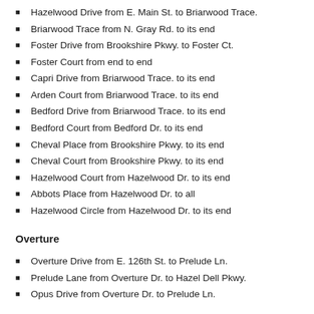Hazelwood Drive from E. Main St. to Briarwood Trace.
Briarwood Trace from N. Gray Rd. to its end
Foster Drive from Brookshire Pkwy. to Foster Ct.
Foster Court from end to end
Capri Drive from Briarwood Trace. to its end
Arden Court from Briarwood Trace. to its end
Bedford Drive from Briarwood Trace. to its end
Bedford Court from Bedford Dr. to its end
Cheval Place from Brookshire Pkwy. to its end
Cheval Court from Brookshire Pkwy. to its end
Hazelwood Court from Hazelwood Dr. to its end
Abbots Place from Hazelwood Dr. to all
Hazelwood Circle from Hazelwood Dr. to its end
Overture
Overture Drive from E. 126th St. to Prelude Ln.
Prelude Lane from Overture Dr. to Hazel Dell Pkwy.
Opus Drive from Overture Dr. to Prelude Ln.